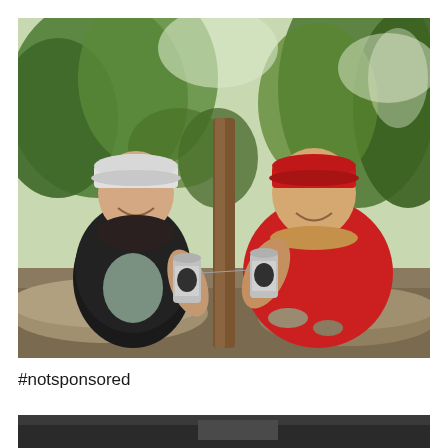[Figure (photo): Two people sitting outdoors in a garden, smiling and holding up cans of beer toward each other. The woman on the left wears a white baseball cap and a black zip-up hoodie. The man on the right wears a red cap and a red t-shirt. They are seated on or near a large stone or log, with a wooden post between them. Green trees and garden foliage visible in the background.]
#notsponsored
[Figure (photo): Partially visible second photo at the bottom of the page, showing a dark/grey scene cropped.]